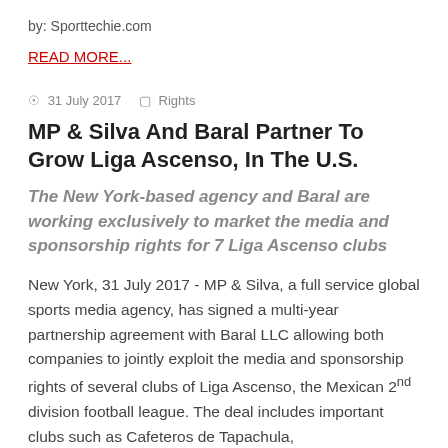by: Sporttechie.com
READ MORE...
31 July 2017   Rights
MP & Silva And Baral Partner To Grow Liga Ascenso, In The U.S.
The New York-based agency and Baral are working exclusively to market the media and sponsorship rights for 7 Liga Ascenso clubs
New York, 31 July 2017 - MP & Silva, a full service global sports media agency, has signed a multi-year partnership agreement with Baral LLC allowing both companies to jointly exploit the media and sponsorship rights of several clubs of Liga Ascenso, the Mexican 2nd division football league. The deal includes important clubs such as Cafeteros de Tapachula,